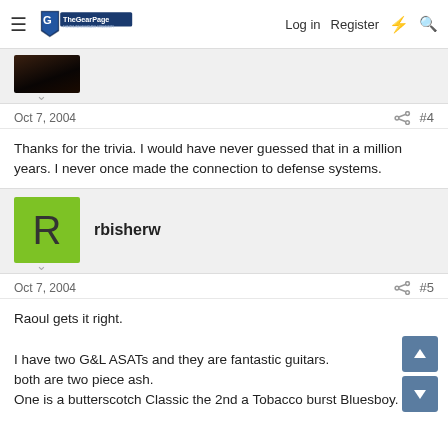The Gear Page — Log in  Register
[Figure (screenshot): Dark avatar image (partial, top cropped)]
Oct 7, 2004   #4
Thanks for the trivia. I would have never guessed that in a million years. I never once made the connection to defense systems.
[Figure (illustration): Green square avatar with letter R for user rbisherw]
rbisherw
Oct 7, 2004   #5
Raoul gets it right.

I have two G&L ASATs and they are fantastic guitars.
both are two piece ash.
One is a butterscotch Classic the 2nd a Tobacco burst Bluesboy.